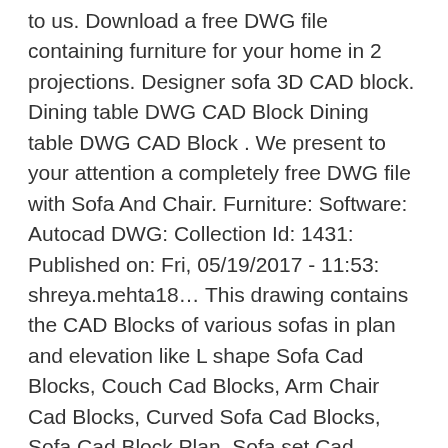to us. Download a free DWG file containing furniture for your home in 2 projections. Designer sofa 3D CAD block. Dining table DWG CAD Block Dining table DWG CAD Block . We present to your attention a completely free DWG file with Sofa And Chair. Furniture: Software: Autocad DWG: Collection Id: 1431: Published on: Fri, 05/19/2017 - 11:53: shreya.mehta18… This drawing contains the CAD Blocks of various sofas in plan and elevation like L shape Sofa Cad Blocks, Couch Cad Blocks, Arm Chair Cad Blocks, Curved Sofa Cad Blocks, Sofa Cad Block Plan, Sofa set Cad Blocks, Furniture Cad Blocks Etc. Cbba dental center project dwg. Symbols for Electrical Fittings and Applications. Share this: Click to share on Twitter (Opens in new window) Click to share on Facebook (Opens in new window) Like this: The entire interior in the DVG format can be downloaded for free in AutoKAD in our section